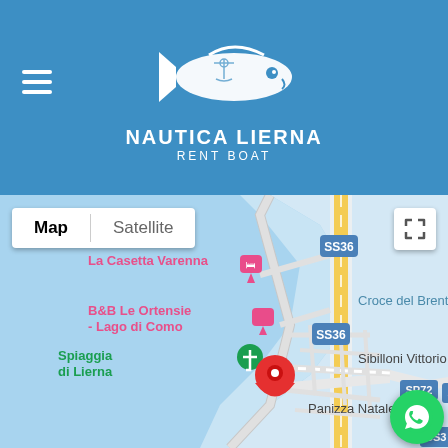[Figure (logo): Nautica Lierna Rent Boat logo — white fish/boat illustration above text NAUTICA LIERNA RENT BOAT on blue background]
[Figure (map): Google Maps view showing Lierna area on Lake Como (Lago di Como). Shows Map/Satellite toggle tabs. Labels visible: La Casetta Varenna (pink hotel pin), B&B Le Ortensie - Lago di Como (pink hotel pin), Spiaggia di Lierna (green pin), red location marker (Nautica Lierna), SS36 (blue road sign x2), SP72 (blue road sign), Croce del Brenta, Sibilloni Vittorio (S.N.C.), Panizza Natale S.N.C, SS3 partial. Water shown in blue on left, roads in gray and yellow.]